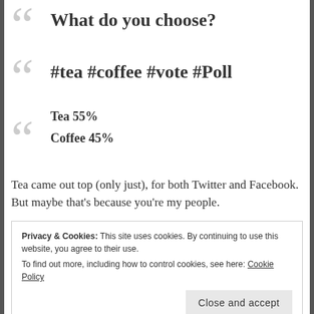What do you choose?
#tea #coffee #vote #Poll
Tea 55%
Coffee 45%
Tea came out top (only just), for both Twitter and Facebook. But maybe that's because you're my people.
Privacy & Cookies: This site uses cookies. By continuing to use this website, you agree to their use.
To find out more, including how to control cookies, see here: Cookie Policy
Close and accept